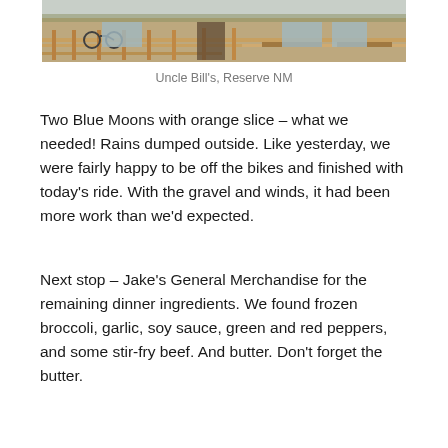[Figure (photo): Exterior photo of Uncle Bill's in Reserve, NM showing bicycles parked outside, wooden benches and railings in front of a brick building]
Uncle Bill's, Reserve NM
Two Blue Moons with orange slice – what we needed! Rains dumped outside. Like yesterday, we were fairly happy to be off the bikes and finished with today's ride. With the gravel and winds, it had been more work than we'd expected.
Next stop – Jake's General Merchandise for the remaining dinner ingredients. We found frozen broccoli, garlic, soy sauce, green and red peppers, and some stir-fry beef. And butter. Don't forget the butter.